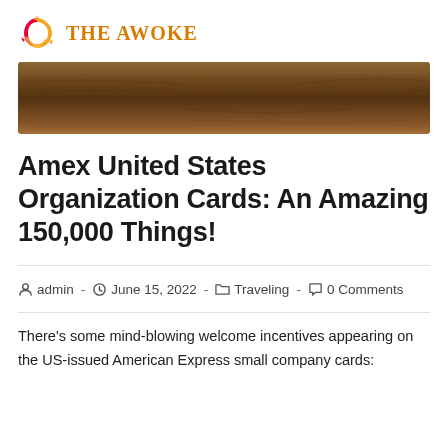THE AWOKE
[Figure (photo): A close-up photo of textured wood or rock surface in warm brown tones, used as a hero/banner image.]
Amex United States Organization Cards: An Amazing 150,000 Things!
admin · June 15, 2022 · Traveling · 0 Comments
There's some mind-blowing welcome incentives appearing on the US-issued American Express small company cards: